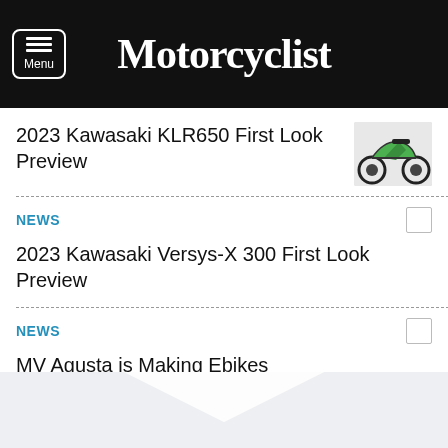Motorcyclist
2023 Kawasaki KLR650 First Look Preview
NEWS
2023 Kawasaki Versys-X 300 First Look Preview
NEWS
MV Agusta is Making Ebikes